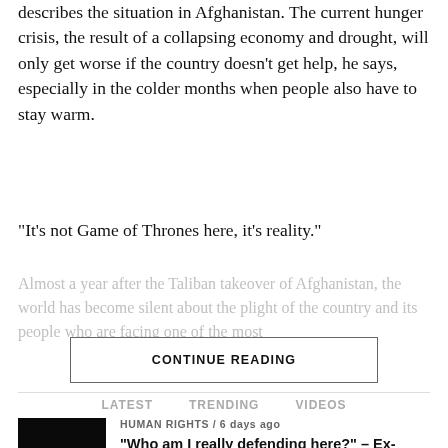describes the situation in Afghanistan. The current hunger crisis, the result of a collapsing economy and drought, will only get worse if the country doesn't get help, he says, especially in the colder months when people also have to stay warm.
“It’s not Game of Thrones here, it’s reality.”
Almost a year after the Taliban takeover of Afghanistan, the world has become silent about the plight of the country and its people who are facing one of the most...
CONTINUE READING
LATEST   TRENDING   VIDEOS
HUMAN RIGHTS / 6 days ago
“Who am I really defending here?” – Ex-Israeli soldiers speak out
[Figure (photo): Black thumbnail image for news article]